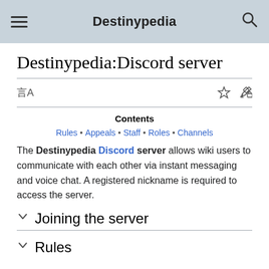Destinypedia
Destinypedia:Discord server
Contents
Rules • Appeals • Staff • Roles • Channels
The Destinypedia Discord server allows wiki users to communicate with each other via instant messaging and voice chat. A registered nickname is required to access the server.
Joining the server
Rules